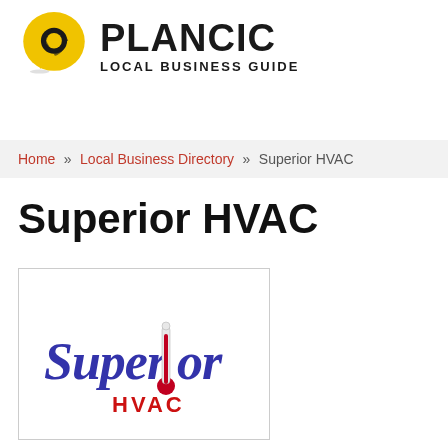[Figure (logo): Plancic Local Business Guide logo: yellow camera shutter speech bubble icon on left, PLANCIC in bold black large text, LOCAL BUSINESS GUIDE subtitle below]
Home » Local Business Directory » Superior HVAC
Superior HVAC
[Figure (logo): Superior HVAC company logo: italic blue script text 'Superior' with a thermometer replacing the letter 'i', red 'HVAC' text below in block letters]